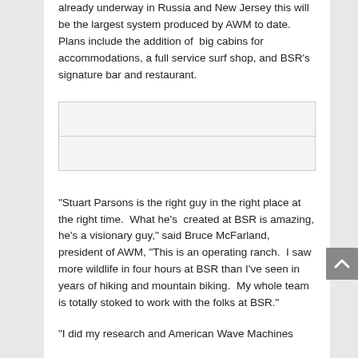already underway in Russia and New Jersey this will be the largest system produced by AWM to date.  Plans include the addition of  big cabins for accommodations, a full service surf shop, and BSR's signature bar and restaurant.
[Figure (other): Placeholder image box with a horizontal dividing line, representing an embedded image or media content]
“Stuart Parsons is the right guy in the right place at the right time.  What he’s  created at BSR is amazing, he’s a visionary guy,” said Bruce McFarland, president of AWM, “This is an operating ranch.  I saw more wildlife in four hours at BSR than I’ve seen in years of hiking and mountain biking.  My whole team is totally stoked to work with the folks at BSR.”
“I did my research and American Wave Machines